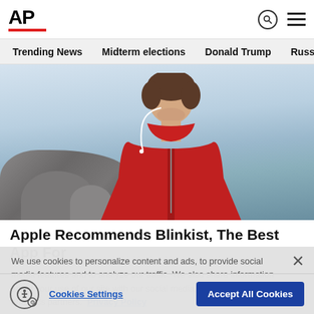[Figure (logo): AP (Associated Press) logo with red underline bar]
Trending News  Midterm elections  Donald Trump  Russia-Ukr
[Figure (photo): Man in red hoodie with earphones looking down, outdoors near rocks and water]
Apple Recommends Blinkist, The Best App For
We use cookies to personalize content and ads, to provide social media features and to analyze our traffic. We also share information about your use of our site with our social media, advertising and analytics partners. Privacy Policy
Cookies Settings  Accept All Cookies